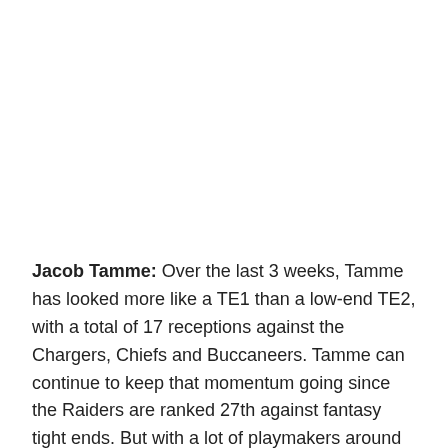Jacob Tamme: Over the last 3 weeks, Tamme has looked more like a TE1 than a low-end TE2, with a total of 17 receptions against the Chargers, Chiefs and Buccaneers. Tamme can continue to keep that momentum going since the Raiders are ranked 27th against fantasy tight ends. But with a lot of playmakers around him, Tamme could also see his resurgence come to a halt. The only way I play Tamme is if there are no other options on the